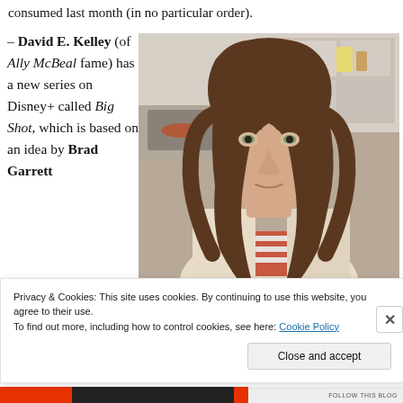consumed last month (in no particular order).
– David E. Kelley (of Ally McBeal fame) has a new series on Disney+ called Big Shot, which is based on an idea by Brad Garrett
[Figure (photo): Young woman with long brown wavy hair looking to the side, wearing a beige jacket over a red and white striped shirt, in an indoor kitchen setting.]
Privacy & Cookies: This site uses cookies. By continuing to use this website, you agree to their use.
To find out more, including how to control cookies, see here: Cookie Policy
Close and accept